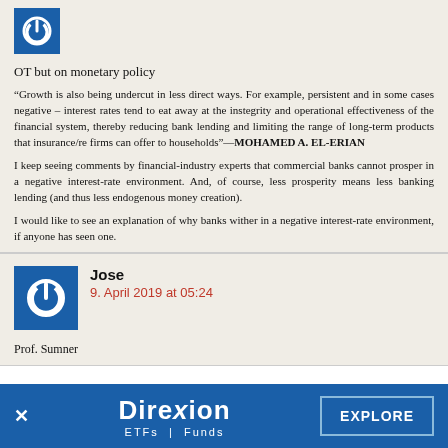[Figure (logo): Blue square avatar with white power button icon]
OT but on monetary policy
“Growth is also being undercut in less direct ways. For example, persistent and in some cases negative – interest rates tend to eat away at the integrity and operational effectiveness of the financial system, thereby reducing bank lending and limiting the range of long-term products that insurance/re firms can offer to households”—MOHAMED A. EL-ERIAN
I keep seeing comments by financial-industry experts that commercial banks cannot prosper in a negative interest-rate environment. And, of course, less prosperity means less banking lending (and thus less endogenous money creation).
I would like to see an explanation of why banks wither in a negative interest-rate environment, if anyone has seen one.
[Figure (logo): Blue square avatar with white power button icon for Jose]
Jose
9. April 2019 at 05:24
Prof. Sumner
[Figure (logo): Direxion ETFs | Funds advertisement banner with EXPLORE button]